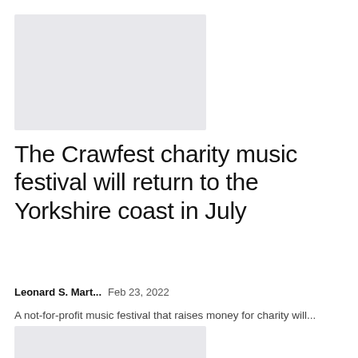[Figure (photo): Gray placeholder image at top of article listing]
The Crawfest charity music festival will return to the Yorkshire coast in July
Leonard S. Mart...  Feb 23, 2022
A not-for-profit music festival that raises money for charity will...
[Figure (photo): Gray placeholder image at bottom of article listing]